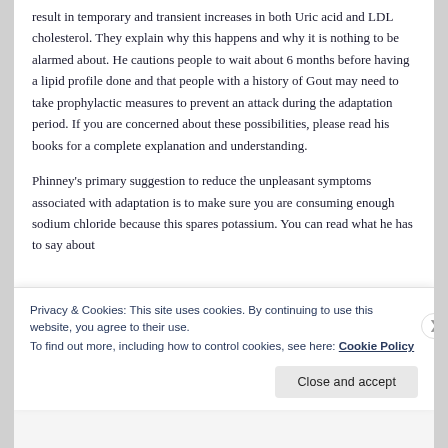result in temporary and transient increases in both Uric acid and LDL cholesterol. They explain why this happens and why it is nothing to be alarmed about. He cautions people to wait about 6 months before having a lipid profile done and that people with a history of Gout may need to take prophylactic measures to prevent an attack during the adaptation period. If you are concerned about these possibilities, please read his books for a complete explanation and understanding.
Phinney's primary suggestion to reduce the unpleasant symptoms associated with adaptation is to make sure you are consuming enough sodium chloride because this spares potassium. You can read what he has to say about
Privacy & Cookies: This site uses cookies. By continuing to use this website, you agree to their use.
To find out more, including how to control cookies, see here: Cookie Policy